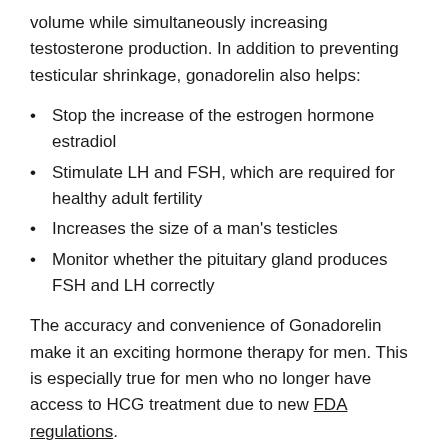volume while simultaneously increasing testosterone production. In addition to preventing testicular shrinkage, gonadorelin also helps:
Stop the increase of the estrogen hormone estradiol
Stimulate LH and FSH, which are required for healthy adult fertility
Increases the size of a man's testicles
Monitor whether the pituitary gland produces FSH and LH correctly
The accuracy and convenience of Gonadorelin make it an exciting hormone therapy for men. This is especially true for men who no longer have access to HCG treatment due to new FDA regulations.
Whole Body Benefits of Gonadorelin